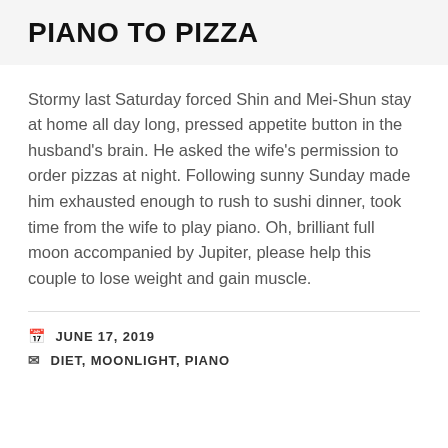PIANO TO PIZZA
Stormy last Saturday forced Shin and Mei-Shun stay at home all day long, pressed appetite button in the husband's brain. He asked the wife's permission to order pizzas at night. Following sunny Sunday made him exhausted enough to rush to sushi dinner, took time from the wife to play piano. Oh, brilliant full moon accompanied by Jupiter, please help this couple to lose weight and gain muscle.
JUNE 17, 2019
DIET, MOONLIGHT, PIANO